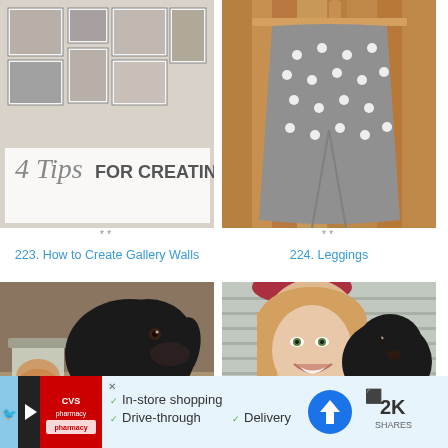[Figure (photo): Photo collage of gallery wall with black and white photos and text '4 Tips FOR CREATING']
**
223. How to Create Gallery Walls
[Figure (photo): Gray polka dot leggings hanging on a wooden hanger against a wood background]
**
224. Leggings
[Figure (photo): Black long-haired dog sniffing a mason jar filled with treats]
**
225. 3 Ways to Soften Hard Brown Sugar
[Figure (photo): Smiling woman with blonde hair taking a selfie with a black dog, outdoors]
**
226. Fearful Dog Training Update
[Figure (infographic): CVS Pharmacy advertisement banner: In-store shopping, Drive-through, Delivery. With share button showing 2K SHARES]